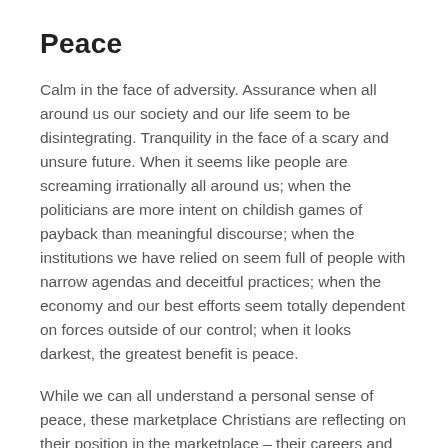Peace
Calm in the face of adversity.  Assurance when all around us our society and our life seem to be disintegrating.  Tranquility in the face of a scary and unsure future.  When it seems like people are screaming irrationally all around us; when the politicians are more intent on childish games of payback than meaningful discourse; when the institutions we have relied on seem full of people with narrow agendas and deceitful practices;  when the economy and our best efforts seem totally dependent on forces outside of our control; when it looks darkest, the greatest benefit is peace.
While we can all understand a personal sense of peace, these marketplace Christians are reflecting on their position in the marketplace – their careers and businesses.